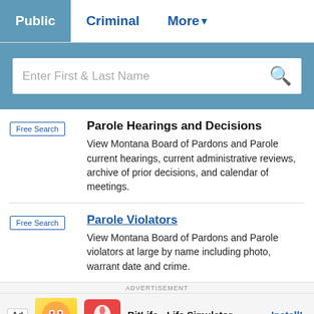Public | Criminal | More
[Figure (other): Search bar with placeholder text 'Enter First & Last Name' and a search icon]
Free Search | Parole Hearings and Decisions - View Montana Board of Pardons and Parole current hearings, current administrative reviews, archive of prior decisions, and calendar of meetings.
Free Search | Parole Violators - View Montana Board of Pardons and Parole violators at large by name including photo, warrant date and crime.
ADVERTISEMENT
Ad | BitLife - Life Simulator | Install!